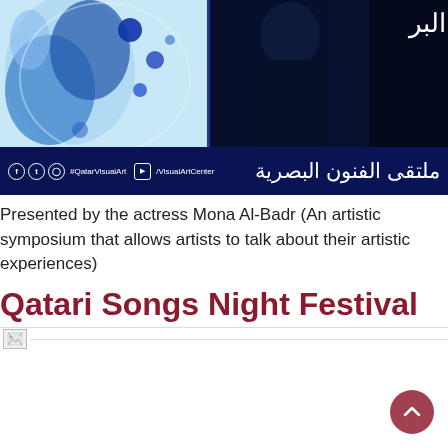[Figure (photo): Event banner showing a visual arts forum. Left side has a canvas with blue paint splashes. Right side shows a person in dark clothing against a dark background with Arabic text. Bottom banner in dark blue shows social media handles (@QatarVisualArt, /VisualArtCenter) and Arabic calligraphy logo.]
Presented by the actress Mona Al-Badr (An artistic symposium that allows artists to talk about their artistic experiences)
Qatari Songs Night Festival
[Figure (photo): Broken image placeholder icon]